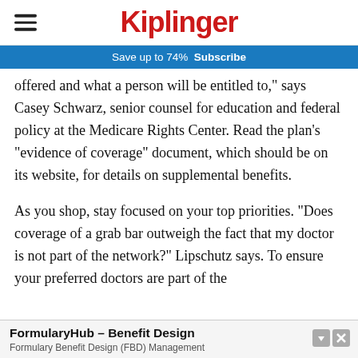Kiplinger
Save up to 74%  Subscribe
offered and what a person will be entitled to,” says Casey Schwarz, senior counsel for education and federal policy at the Medicare Rights Center. Read the plan’s “evidence of coverage” document, which should be on its website, for details on supplemental benefits.
As you shop, stay focused on your top priorities. “Does coverage of a grab bar outweigh the fact that my doctor is not part of the network?” Lipschutz says. To ensure your preferred doctors are part of the
[Figure (other): Advertisement banner for FormularyHub - Benefit Design. Text reads: FormularyHub - Benefit Design. Formulary Benefit Design (FBD) Management]